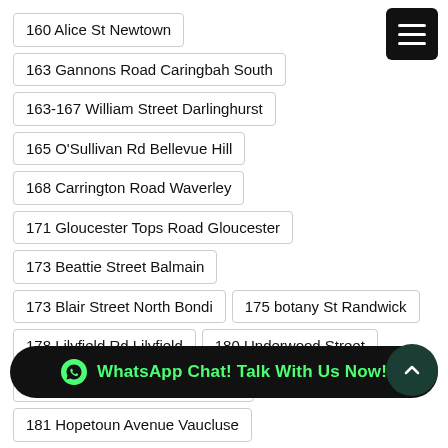160 Alice St Newtown
163 Gannons Road Caringbah South
163-167 William Street Darlinghurst
165 O'Sullivan Rd Bellevue Hill
168 Carrington Road Waverley
171 Gloucester Tops Road Gloucester
173 Beattie Street Balmain
173 Blair Street North Bondi
175 botany St Randwick
178 Lilyfield Rd Lilyfield
180 Underwood Street
181 Hargrave Street Paddington
181 Hopetoun Avenue Vaucluse
18…
184 Belgrave Esplanade Sylvania Waters